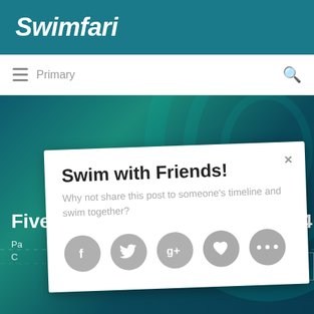Swimfari
Primary
[Figure (screenshot): Hero image with dark teal swimming pool/ocean background with decorative lane lines and text 'Five Islands Challenge – Swim 4' overlaid in white bold font. A Swimfari branded box appears in the bottom right. A popup modal overlays the image.]
Five Islands Challenge – Swim 4
Swim with Friends!
Why not share this post to someone's timeline and swim together?